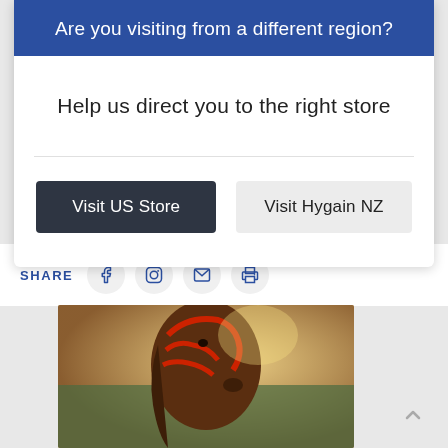Are you visiting from a different region?
Help us direct you to the right store
Visit US Store
Visit Hygain NZ
SHARE
[Figure (photo): Close-up of a horse wearing a red bridle, with sunlight and a green fence in the background]